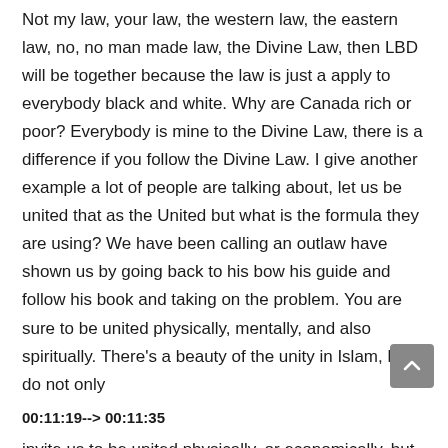Not my law, your law, the western law, the eastern law, no, no man made law, the Divine Law, then LBD will be together because the law is just a apply to everybody black and white. Why are Canada rich or poor? Everybody is mine to the Divine Law, there is a difference if you follow the Divine Law. I give another example a lot of people are talking about, let us be united that as the United but what is the formula they are using? We have been calling an outlaw have shown us by going back to his bow his guide and follow his book and taking on the problem. You are sure to be united physically, mentally, and also spiritually. There's a beauty of the unity in Islam, he do not only
00:11:19--> 00:11:35
invite us to be united physically, or economically, but spiritually make us like one big family. And when you become like a big family, you will love each other. You respect each other, you help each other. No more